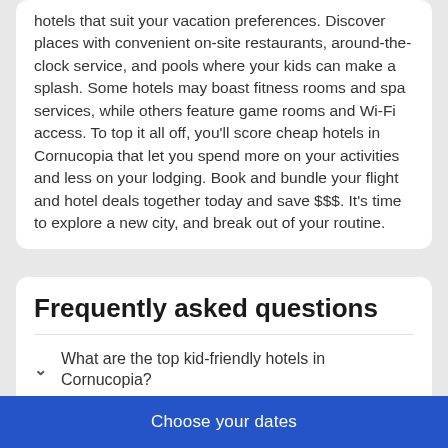hotels that suit your vacation preferences. Discover places with convenient on-site restaurants, around-the-clock service, and pools where your kids can make a splash. Some hotels may boast fitness rooms and spa services, while others feature game rooms and Wi-Fi access. To top it all off, you'll score cheap hotels in Cornucopia that let you spend more on your activities and less on your lodging. Book and bundle your flight and hotel deals together today and save $$$. It's time to explore a new city, and break out of your routine.
Frequently asked questions
What are the top kid-friendly hotels in Cornucopia?
Where can I find cheap hotels in Cornucopia?
How do I find the best Cornucopia hotel deals?
How much does it cost to stay in a hotel in
Choose your dates